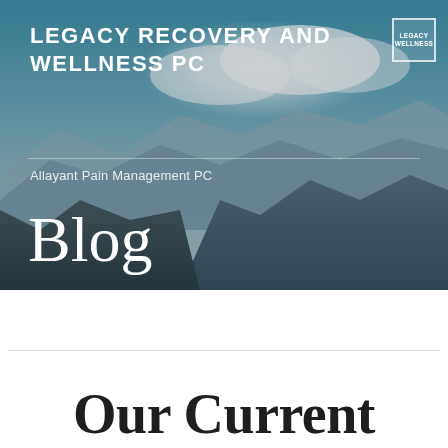[Figure (photo): Mountain landscape with cloudy sky, misty mountains in the background serving as hero image for a medical/wellness website]
LEGACY RECOVERY AND WELLNESS PC
Allayant Pain Management PC
Blog
Our Current